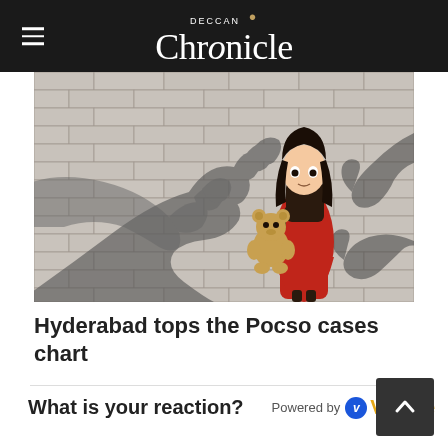DECCAN Chronicle
[Figure (illustration): Illustration of a child holding a teddy bear against a brick wall, with dark threatening shadow hands reaching toward her — symbolic image related to child abuse/POCSO cases.]
Hyderabad tops the Pocso cases chart
What is your reaction?  Powered by Vuukle